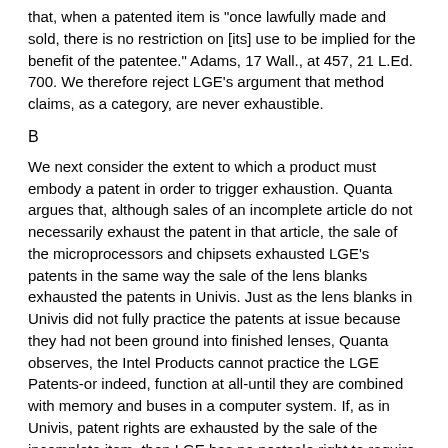that, when a patented item is "once lawfully made and sold, there is no restriction on [its] use to be implied for the benefit of the patentee." Adams, 17 Wall., at 457, 21 L.Ed. 700. We therefore reject LGE's argument that method claims, as a category, are never exhaustible.
B
We next consider the extent to which a product must embody a patent in order to trigger exhaustion. Quanta argues that, although sales of an incomplete article do not necessarily exhaust the patent in that article, the sale of the microprocessors and chipsets exhausted LGE's patents in the same way the sale of the lens blanks exhausted the patents in Univis. Just as the lens blanks in Univis did not fully practice the patents at issue because they had not been ground into finished lenses, Quanta observes, the Intel Products cannot practice the LGE Patents-or indeed, function at all-until they are combined with memory and buses in a computer system. If, as in Univis, patent rights are exhausted by the sale of the incomplete item, then LGE has no postsale right to require that the patents be practiced using only Intel parts. Quanta also argues that exhaustion doctrine will be a dead letter unless it is triggered by the sale of components that essentially, even if not completely, embody an invention. Otherwise, patent holders could authorize the sale of computers that are complete with the exception of one minor step-say, inserting the microprocessor into a socket-and extend their rights through each downstream purchaser all the way to the end user.